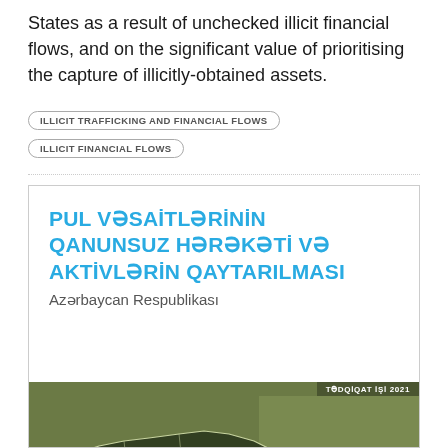States as a result of unchecked illicit financial flows, and on the significant value of prioritising the capture of illicitly-obtained assets.
ILLICIT TRAFFICKING AND FINANCIAL FLOWS
ILLICIT FINANCIAL FLOWS
[Figure (illustration): Book cover for 'Pul Vəsaitlərinin Qanunsuz Hərəkəti və Aktivlərin Qaytarılması – Azərbaycan Respublikası, Tədqiqat İşi 2021', featuring bold blue Azerbaijani title text on white background with a dark olive-green map of Azerbaijan in the lower half.]